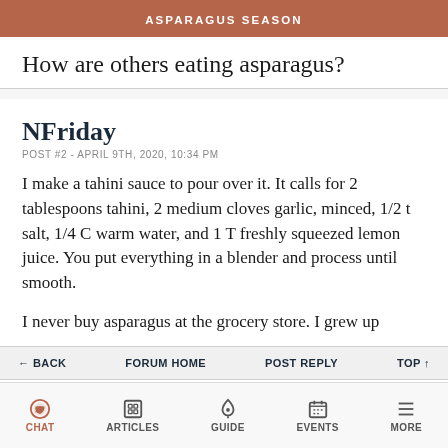ASPARAGUS SEASON
How are others eating asparagus?
NFriday
POST #2 - APRIL 9TH, 2020, 10:34 PM
I make a tahini sauce to pour over it. It calls for 2 tablespoons tahini, 2 medium cloves garlic, minced, 1/2 t salt, 1/4 C warm water, and 1 T freshly squeezed lemon juice. You put everything in a blender and process until smooth.
I never buy asparagus at the grocery store. I grew up
← BACK   FORUM HOME   POST REPLY   TOP ↑
CHAT   ARTICLES   GUIDE   EVENTS   MORE